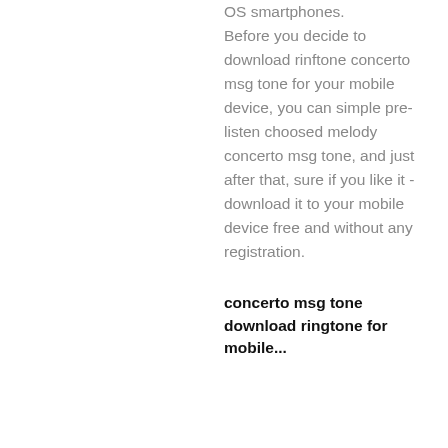OS smartphones. Before you decide to download rinftone concerto msg tone for your mobile device, you can simple pre-listen choosed melody concerto msg tone, and just after that, sure if you like it - download it to your mobile device free and without any registration.
concerto msg tone download ringtone for mobile...